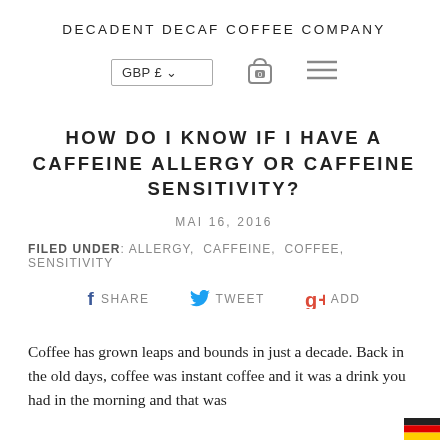DECADENT DECAF COFFEE COMPANY
[Figure (screenshot): Navigation bar with GBP £ currency selector dropdown, shopping basket icon with 0 badge, and hamburger menu icon]
HOW DO I KNOW IF I HAVE A CAFFEINE ALLERGY OR CAFFEINE SENSITIVITY?
MAI 16, 2016
FILED UNDER: ALLERGY, CAFFEINE, COFFEE, SENSITIVITY
[Figure (infographic): Social sharing bar with Facebook SHARE, Twitter TWEET, and Google+ ADD buttons]
Coffee has grown leaps and bounds in just a decade. Back in the old days, coffee was instant coffee and it was a drink you had in the morning and that was